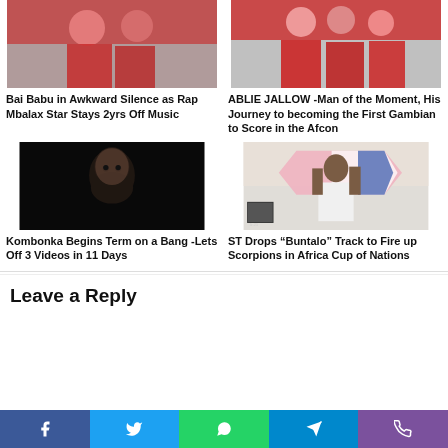[Figure (photo): Two people in red sports attire - top left article image]
Bai Babu in Awkward Silence as Rap Mbalax Star Stays 2yrs Off Music
[Figure (photo): Football players in red uniforms - top right article image]
ABLIE JALLOW -Man of the Moment, His Journey to becoming the First Gambian to Score in the Afcon
[Figure (photo): Dark portrait of a person - bottom left article image]
Kombonka Begins Term on a Bang -Lets Off 3 Videos in 11 Days
[Figure (photo): Person holding up a flag - bottom right article image]
ST Drops “Buntalo” Track to Fire up Scorpions in Africa Cup of Nations
Leave a Reply